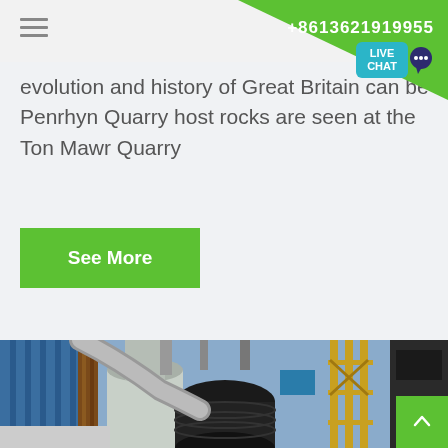+8613621919955
evolution and history of Great Britain can be Penrhyn Quarry host rocks are seen at the Ton Mawr Quarry
See More
[Figure (photo): Industrial machinery photograph showing large pipes, ducts, tanks and structural steelwork in a quarry or manufacturing plant setting, with blue and yellow structural elements visible in the background.]